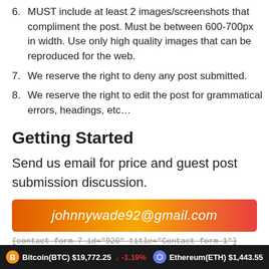6. MUST include at least 2 images/screenshots that compliment the post. Must be between 600-700px in width. Use only high quality images that can be reproduced for the web.
7. We reserve the right to deny any post submitted.
8. We reserve the right to edit the post for grammatical errors, headings, etc…
Getting Started
Send us email for price and guest post submission discussion.
[Figure (infographic): Orange-red gradient banner with email address johnnywade92@gmail.com in white italic text]
[contact-form-7 id="920" title="Contact form 1"]
Bitcoin(BTC) $19,772.25 ↓ -1.19%    Ethereum(ETH) $1,443.55